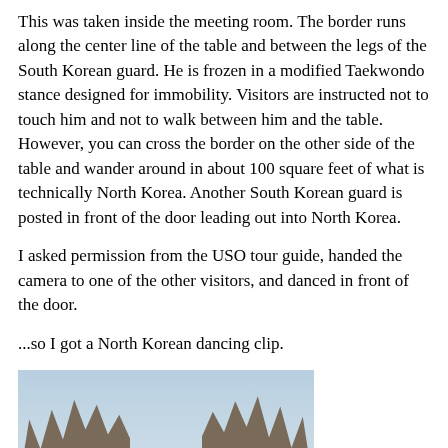This was taken inside the meeting room. The border runs along the center line of the table and between the legs of the South Korean guard. He is frozen in a modified Taekwondo stance designed for immobility. Visitors are instructed not to touch him and not to walk between him and the table. However, you can cross the border on the other side of the table and wander around in about 100 square feet of what is technically North Korea. Another South Korean guard is posted in front of the door leading out into North Korea.
I asked permission from the USO tour guide, handed the camera to one of the other visitors, and danced in front of the door.
...so I got a North Korean dancing clip.
[Figure (photo): Winter outdoor scene showing a road or path (Bridge of No Return area) covered in snow, flanked by bare leafless trees on both sides, with a blue structure visible in the middle distance. Sky is light blue-grey. Ground is brown and snow-covered.]
This is called the Bridge of No Return. It's where the two countries orchestrated their prisoner exchanges at the end of the war and in